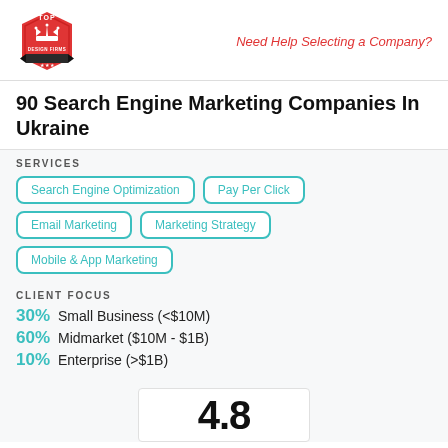[Figure (logo): Top Design Firms logo — red hexagon badge with crown icon and banner]
Need Help Selecting a Company?
90 Search Engine Marketing Companies In Ukraine
SERVICES
Search Engine Optimization
Pay Per Click
Email Marketing
Marketing Strategy
Mobile & App Marketing
CLIENT FOCUS
30% Small Business (<$10M)
60% Midmarket ($10M - $1B)
10% Enterprise (>$1B)
4.8